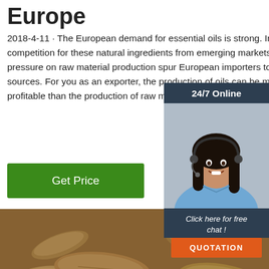Europe
2018-4-11 · The European demand for essential oils is strong. Increasing competition for these natural ingredients from emerging markets and pressure on raw material production spur European importers to search for sources. For you as an exporter, the production of oils can be much more profitable than the production of raw materials only.
Get Price
[Figure (infographic): 24/7 Online chat widget with a customer service representative wearing a headset, dark blue/slate background, with 'Click here for free chat!' text and an orange QUOTATION button]
[Figure (photo): Close-up photo of ginger root pieces with a TOF watermark in the bottom right corner]